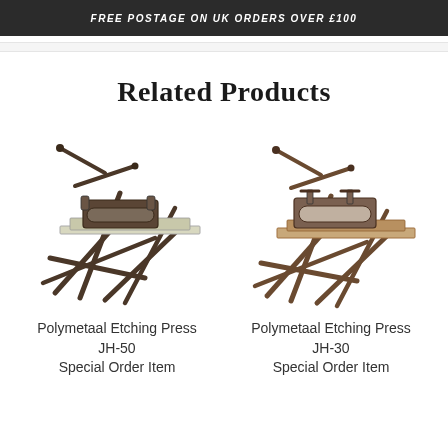Free postage on UK orders over £100
Related Products
[Figure (photo): Polymetaal Etching Press JH-50 on a folding stand with cross-shaped legs and a flat printing bed]
Polymetaal Etching Press
JH-50
Special Order Item
[Figure (photo): Polymetaal Etching Press JH-30 on a folding stand with cross-shaped legs and a wooden printing bed]
Polymetaal Etching Press
JH-30
Special Order Item